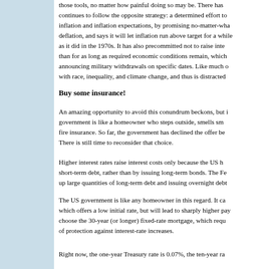those tools, no matter how painful doing so may be. There has continues to follow the opposite strategy: a determined effort to inflation and inflation expectations, by promising no-matter-wha deflation, and says it will let inflation run above target for a while as it did in the 1970s. It has also precommitted not to raise inte than for as long as required economic conditions remain, which announcing military withdrawals on specific dates. Like much o with race, inequality, and climate change, and thus is distracted
Buy some insurance!
An amazing opportunity to avoid this conundrum beckons, but i government is like a homeowner who steps outside, smells sm fire insurance. So far, the government has declined the offer be There is still time to reconsider that choice.
Higher interest rates raise interest costs only because the US h short-term debt, rather than by issuing long-term bonds. The Fe up large quantities of long-term debt and issuing overnight debt
The US government is like any homeowner in this regard. It ca which offers a low initial rate, but will lead to sharply higher pay choose the 30-year (or longer) fixed-rate mortgage, which requ of protection against interest-rate increases.
Right now, the one-year Treasury rate is 0.07%, the ten-year ra